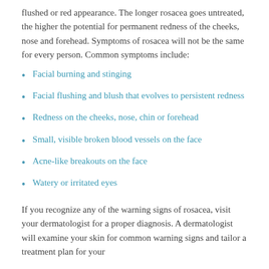flushed or red appearance. The longer rosacea goes untreated, the higher the potential for permanent redness of the cheeks, nose and forehead. Symptoms of rosacea will not be the same for every person. Common symptoms include:
Facial burning and stinging
Facial flushing and blush that evolves to persistent redness
Redness on the cheeks, nose, chin or forehead
Small, visible broken blood vessels on the face
Acne-like breakouts on the face
Watery or irritated eyes
If you recognize any of the warning signs of rosacea, visit your dermatologist for a proper diagnosis. A dermatologist will examine your skin for common warning signs and tailor a treatment plan for your